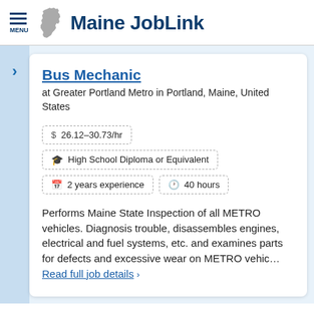Maine JobLink
Bus Mechanic
at Greater Portland Metro in Portland, Maine, United States
$ 26.12–30.73/hr
High School Diploma or Equivalent
2 years experience
40 hours
Performs Maine State Inspection of all METRO vehicles. Diagnosis trouble, disassembles engines, electrical and fuel systems, etc. and examines parts for defects and excessive wear on METRO vehic… Read full job details  >